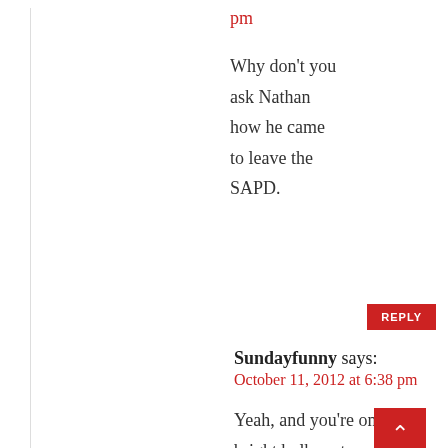pm
Why don't you ask Nathan how he came to leave the SAPD.
REPLY
Sundayfunny says:
October 11, 2012 at 6:38 pm
Yeah, and you're one bright bulb, not.